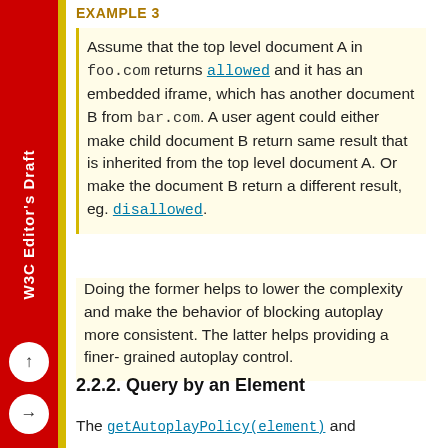EXAMPLE 3
Assume that the top level document A in foo.com returns allowed and it has an embedded iframe, which has another document B from bar.com. A user agent could either make child document B return same result that is inherited from the top level document A. Or make the document B return a different result, eg. disallowed.
Doing the former helps to lower the complexity and make the behavior of blocking autoplay more consistent. The latter helps providing a finer-grained autoplay control.
2.2.2. Query by an Element
The getAutoplayPolicy(element) and